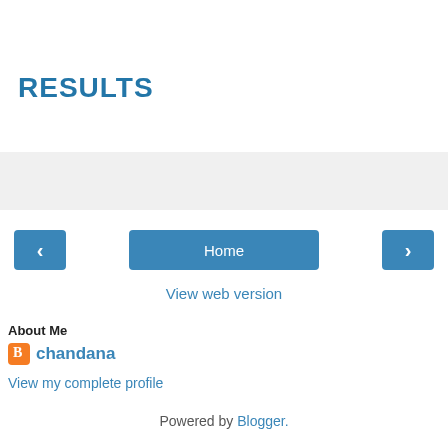RESULTS
[Figure (other): Gray placeholder/advertisement bar]
< Home >
View web version
About Me
chandana
View my complete profile
Powered by Blogger.